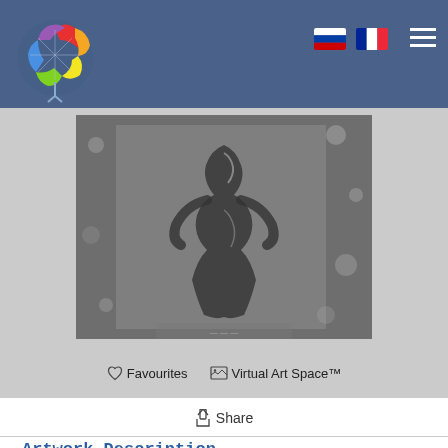Navigation bar with logo, Russian and French flag icons, and hamburger menu
[Figure (photo): Black and white photograph of a nude figure rendered in a textured, sculptural style against a spotty dark background]
♡ Favourites  🖼 Virtual Art Space™
↑ Share
Artwork Description
In contemporary art, we need to ask ourselves, however challenging it might be, why an artist might depict the nude in that particular way. In tandem, one may introspectively discover how one relates to the nude, and what qualities of emotions or thoughts that representation evokes. Throughout history, the nude figure has been a staple of